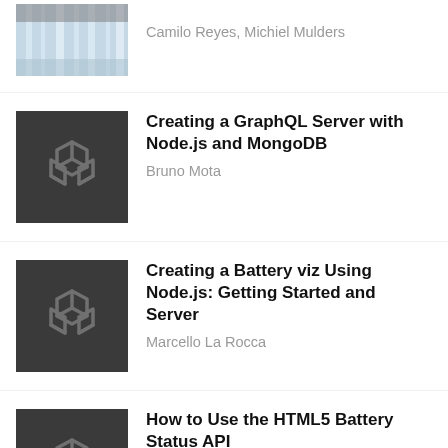[Figure (photo): Waterfall thumbnail image at top]
Camilo Reyes, Michiel Mulders
[Figure (logo): Dark square with SitePoint logo]
Creating a GraphQL Server with Node.js and MongoDB
Bruno Mota
[Figure (logo): Dark square with SitePoint logo]
Creating a Battery viz Using Node.js: Getting Started and Server
Marcello La Rocca
[Figure (logo): Dark square with SitePoint logo]
How to Use the HTML5 Battery Status API
Craig Buckler